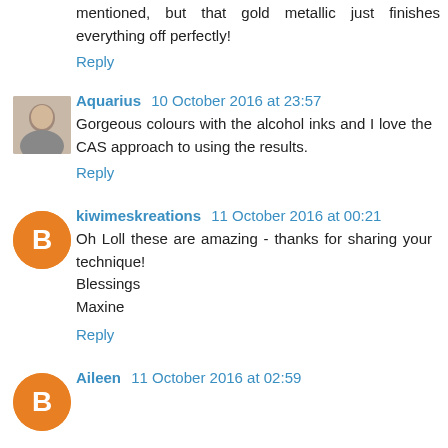mentioned, but that gold metallic just finishes everything off perfectly!
Reply
Aquarius  10 October 2016 at 23:57
Gorgeous colours with the alcohol inks and I love the CAS approach to using the results.
Reply
kiwimeskreations  11 October 2016 at 00:21
Oh Loll these are amazing - thanks for sharing your technique!
Blessings
Maxine
Reply
Aileen  11 October 2016 at 02:59